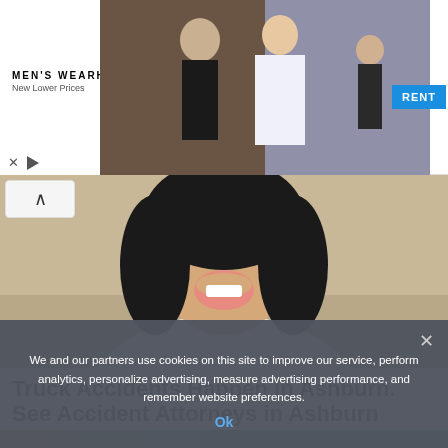[Figure (photo): Men's Wearhouse advertisement banner with wedding couple photo and man in suit, RENT button in blue]
[Figure (photo): Close-up photo of smiling woman with dark hair wearing white blouse, attorney advertisement image]
Truck Accidents Happen in Ashburn. See Accident Attorneys in Ashburn
Truck Accident Attorneys | Sponsored
[Figure (photo): Partial image of colorful items at bottom of page (yellow and teal/green)]
We and our partners use cookies on this site to improve our service, perform analytics, personalize advertising, measure advertising performance, and remember website preferences.